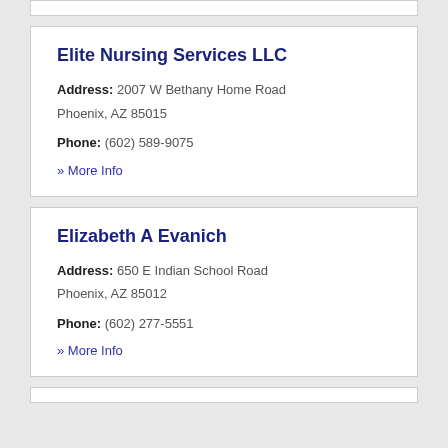Elite Nursing Services LLC
Address: 2007 W Bethany Home Road Phoenix, AZ 85015
Phone: (602) 589-9075
» More Info
Elizabeth A Evanich
Address: 650 E Indian School Road Phoenix, AZ 85012
Phone: (602) 277-5551
» More Info